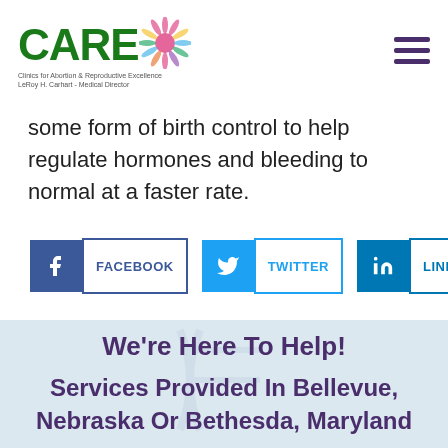[Figure (logo): CARE Clinics for Abortion & Reproductive Excellence logo with colorful starburst/flower graphic]
some form of birth control to help regulate hormones and bleeding to normal at a faster rate.
[Figure (infographic): Social share buttons for Facebook, Twitter, and LinkedIn]
We're Here To Help!
Services Provided In Bellevue, Nebraska Or Bethesda, Maryland